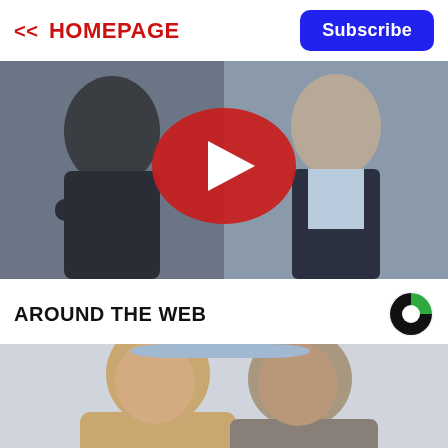<< HOMEPAGE
Subscribe
[Figure (photo): Two men outdoors — one wearing a navy puffer vest with arms crossed, one in a dark suit with light blue shirt — with a YouTube play button overlay in the center.]
AROUND THE WEB
[Figure (logo): Criteo/Content Intelligence logo — circle with black and green segments]
[Figure (photo): Close-up of an older couple smiling — a blonde woman and a grey-haired man — against a light background.]